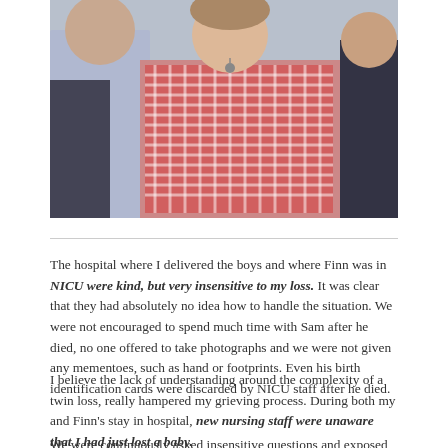[Figure (photo): Partial photo showing a child wearing a red and white gingham/checkered top, with other people visible in the background. The image is cropped, showing the upper portion of the scene.]
The hospital where I delivered the boys and where Finn was in NICU were kind, but very insensitive to my loss. It was clear that they had absolutely no idea how to handle the situation. We were not encouraged to spend much time with Sam after he died, no one offered to take photographs and we were not given any mementoes, such as hand or footprints. Even his birth identification cards were discarded by NICU staff after he died.
I believe the lack of understanding around the complexity of a twin loss, really hampered my grieving process. During both my and Finn's stay in hospital, new nursing staff were unaware that I had just lost a baby.
We were continuously asked insensitive questions and exposed